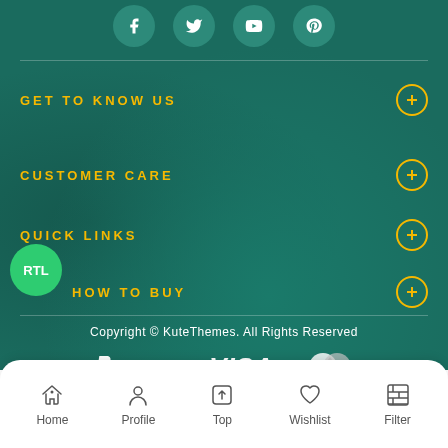[Figure (other): Social media icons (Facebook, Twitter, YouTube, Pinterest) as teal circular buttons at the top]
GET TO KNOW US
CUSTOMER CARE
QUICK LINKS
HOW TO BUY
Copyright © KuteThemes. All Rights Reserved
[Figure (other): Payment icons: PayPal, VISA, Mastercard]
[Figure (other): Bottom navigation bar with Home, Profile, Top, Wishlist, Filter icons]